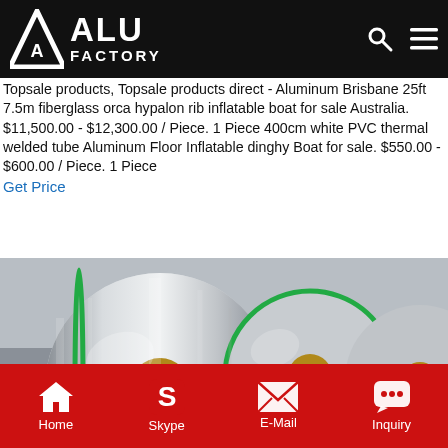ALU FACTORY
Topsale products, Topsale products direct - Aluminum Brisbane 25ft 7.5m fiberglass orca hypalon rib inflatable boat for sale Australia. $11,500.00 - $12,300.00 / Piece. 1 Piece 400cm white PVC thermal welded tube Aluminum Floor Inflatable dinghy Boat for sale. $550.00 - $600.00 / Piece. 1 Piece
Get Price
[Figure (photo): Large rolls of shiny aluminum coil stacked on wooden pallets in a warehouse, tied with green strapping bands.]
Home  Skype  E-Mail  Inquiry